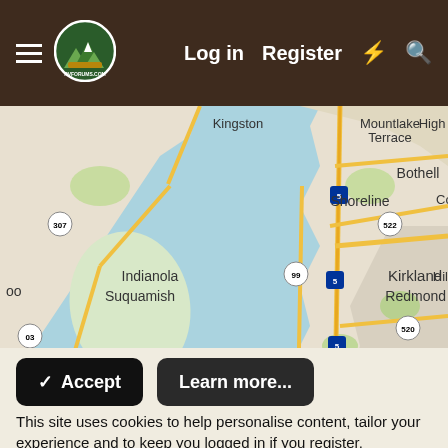Log in  Register
[Figure (map): Google Maps view of the Seattle, Washington area showing surrounding cities including Bothell, Kirkland, Bellevue, Redmond, Shoreline, Bainbridge Island, Suquamish, Indianola, and Mountlake Terrace. Major highways shown include I-5, I-522, SR-99, SR-305, SR-307, SR-520, SR-03.]
This site uses cookies to help personalise content, tailor your experience and to keep you logged in if you register.
By continuing to use this site, you are consenting to our use of cookies.
✓ Accept
Learn more...